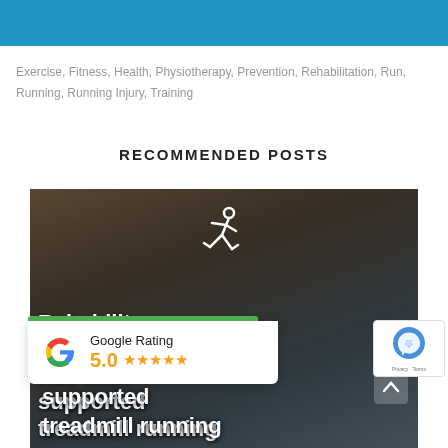[Figure (photo): Blue banner header at top of page]
Exercise, Fitness, Health, Physiotherapy, Prevention, Rehabilitation, Run, Running, Running Injury, Training
RECOMMENDED POSTS
[Figure (photo): Photo of person on treadmill with runner icon overlay and text 'Rehabilitating injuries with body-weight supported treadmill running']
Google Rating 5.0 ★★★★★
Privacy · Terms